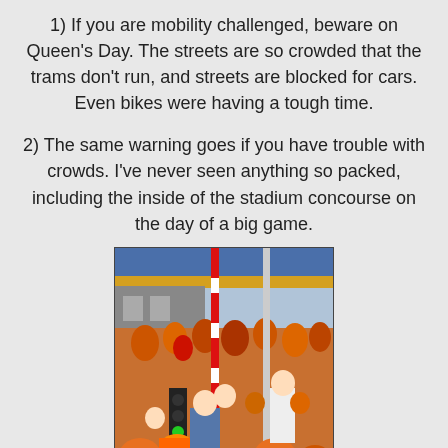1) If you are mobility challenged, beware on Queen's Day. The streets are so crowded that the trams don't run, and streets are blocked for cars. Even bikes were having a tough time.
2) The same warning goes if you have trouble with crowds. I've never seen anything so packed, including the inside of the stadium concourse on the day of a big game.
[Figure (photo): A crowded street scene showing a large crowd of people wearing orange clothing, with a red-and-white striped barrier pole in the center, a traffic light with a green signal, and a blue-and-yellow train or tram in the background.]